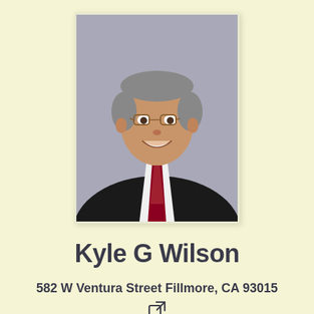[Figure (photo): Professional headshot of a middle-aged man with glasses, wearing a black suit jacket, white shirt, and dark red/maroon dotted tie, smiling, with gray hair, against a gray background.]
Kyle G Wilson
582 W Ventura Street Fillmore, CA 93015
↗ (external link icon)